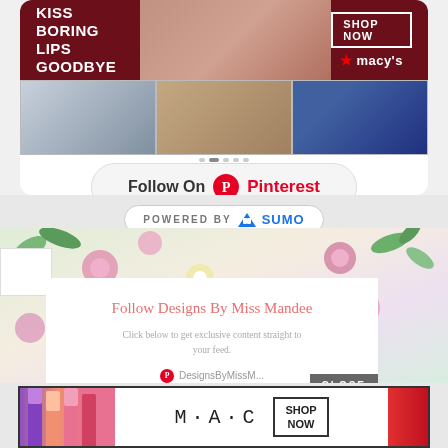[Figure (screenshot): Macy's lipstick advertisement banner with dark red background, text 'KISS BORING LIPS GOODBYE', 'SHOP NOW' button, and Macy's star logo]
[Figure (screenshot): Three-column photo grid showing lifestyle images]
[Figure (screenshot): Follow On Pinterest button with Pinterest logo and wordmark]
[Figure (screenshot): POWERED BY SUMO pill badge]
[Figure (screenshot): Floral background with popup card: 'Follow Designs By Miss Mandee', 'Click below to get exclusive content straight to your feed.', Pinterest handle DesignsByMissM, and CLOSE button]
[Figure (screenshot): MAC Cosmetics advertisement showing colorful lipsticks with SHOP NOW button]